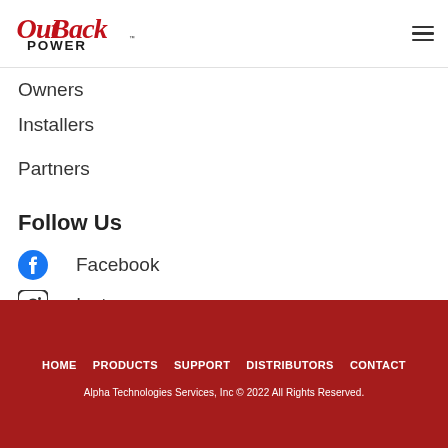OutBack Power logo and hamburger menu
Owners
Installers
Partners
Follow Us
Facebook
Instagram
Youtube
HOME  PRODUCTS  SUPPORT  DISTRIBUTORS  CONTACT
Alpha Technologies Services, Inc © 2022 All Rights Reserved.